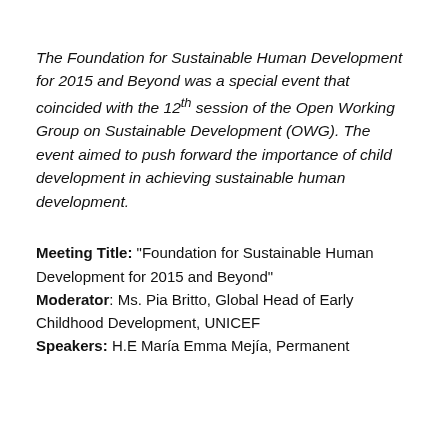The Foundation for Sustainable Human Development for 2015 and Beyond was a special event that coincided with the 12th session of the Open Working Group on Sustainable Development (OWG). The event aimed to push forward the importance of child development in achieving sustainable human development.
Meeting Title: “Foundation for Sustainable Human Development for 2015 and Beyond”
Moderator: Ms. Pia Britto, Global Head of Early Childhood Development, UNICEF
Speakers: H.E María Emma Mejía, Permanent